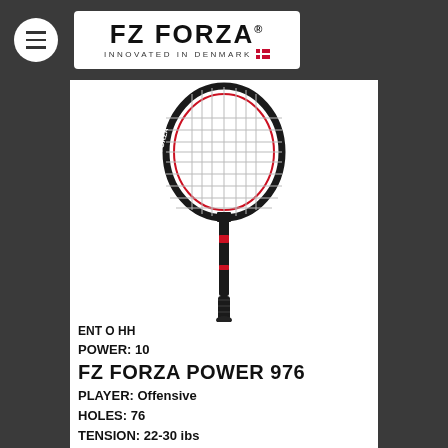FZ FORZA — INNOVATED IN DENMARK
[Figure (photo): FZ Forza badminton racket, black and red, shown vertically with the head at the top. The racket has a white string bed and a dark frame with red accents.]
ENT O HH
POWER: 10
FZ FORZA POWER 976
PLAYER: Offensive
HOLES: 76
TENSION: 22-30 ibs
WEIGHT: 85g
BALANCE: 285